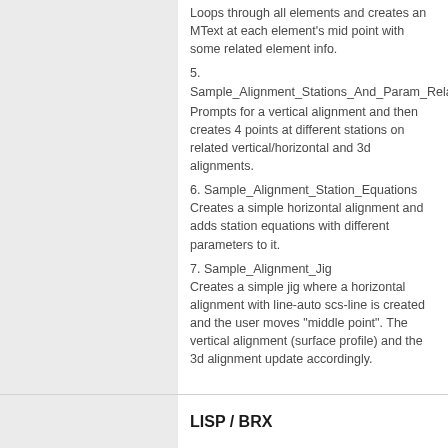Loops through all elements and creates an MText at each element's mid point with some related element info.
5.
Sample_Alignment_Stations_And_Param_Relations
Prompts for a vertical alignment and then creates 4 points at different stations on related vertical/horizontal and 3d alignments.
6. Sample_Alignment_Station_Equations
Creates a simple horizontal alignment and adds station equations with different parameters to it.
7. Sample_Alignment_Jig
Creates a simple jig where a horizontal alignment with line-auto scs-line is created and the user moves "middle point". The vertical alignment (surface profile) and the 3d alignment update accordingly.
LISP / BRX